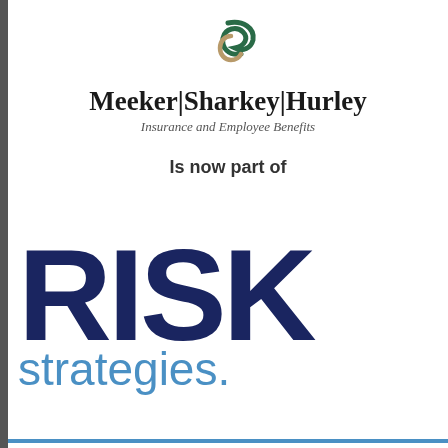[Figure (logo): Meeker Sharkey Hurley logo with a green and tan swoosh/C-shape symbol above the company name]
Meeker|Sharkey|Hurley
Insurance and Employee Benefits
Is now part of
[Figure (logo): Risk Strategies logo - large dark navy bold text 'RISK' with lighter blue text 'strategies.' below, partially cropped on right side]